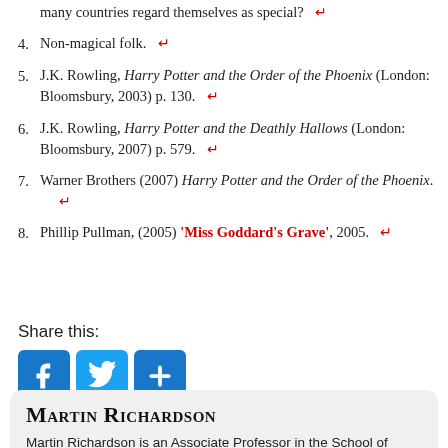many countries regard themselves as special? ↵
4. Non-magical folk. ↵
5. J.K. Rowling, Harry Potter and the Order of the Phoenix (London: Bloomsbury, 2003) p. 130. ↵
6. J.K. Rowling, Harry Potter and the Deathly Hallows (London: Bloomsbury, 2007) p. 579. ↵
7. Warner Brothers (2007) Harry Potter and the Order of the Phoenix. ↵
8. Phillip Pullman, (2005) 'Miss Goddard's Grave', 2005. ↵
Share this:
[Figure (infographic): Social share buttons: Facebook (blue), Twitter (light blue), More/Plus (blue)]
Martin Richardson is an Associate Professor in the School of Education at the University of Derby and is the co-editor of Harry Potter...